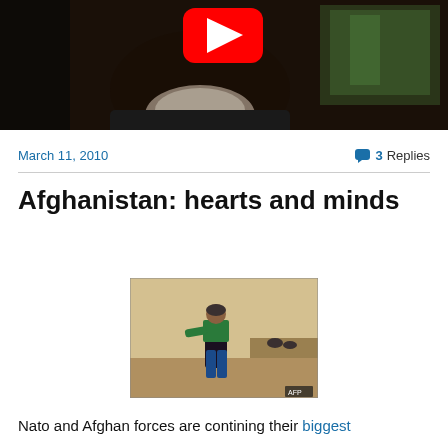[Figure (screenshot): YouTube video thumbnail showing a bearded man in a dark setting with a YouTube play button icon visible at the top]
March 11, 2010
3 Replies
Afghanistan: hearts and minds
[Figure (photo): An Afghan child walking outdoors in a dusty landscape, wearing colorful clothing including a green top and blue pants, with AFP watermark]
Nato and Afghan forces are contining their biggest